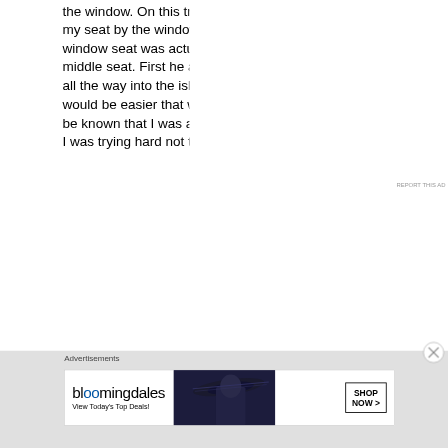the window. On this trip there was a gentleman seated in my seat by the window. I smiled and explained that the window seat was actually mine. He got up to move to the middle seat. First he asked if he was going to have to come all the way into the isle for me to get in. I said I thought it would be easier that way I kinda laughed in a way to let it be known that I was aware and sorry for the inconvenience. I was trying hard not to notice that this was holding up the people boarding. That's when he stated that I should have been required to purchase two seats and
Advertisements
[Figure (other): Bloomingdale's advertisement banner with text 'View Today's Top Deals!' and 'SHOP NOW >' button, featuring a woman wearing a wide-brim hat]